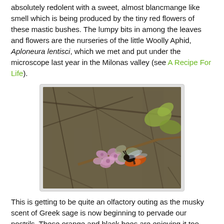absolutely redolent with a sweet, almost blancmange like smell which is being produced by the tiny red flowers of these mastic bushes. The lumpy bits in among the leaves and flowers are the nurseries of the little Woolly Aphid, Aploneura lentisci, which we met and put under the microscope last year in the Milonas valley (see A Recipe For Life).
[Figure (photo): Close-up photograph of pink/purple sage flowers on a branch with a orange and black bee (Leaf-cutter Bee, Megachile sicula) visiting the flowers. Background shows dry twigs and greenish leaves.]
This is getting to be quite an olfactory outing as the musky scent of Greek sage is now beginning to pervade our nostrils. These orange and black bees are enjoying it too. Most of us are familiar with Honey Bees and Bumble Bees and we met a Mining Bee when we were up on The Orchid Hills but this one is a Leaf-cutter Bee, Megachile sicula, which gets its common name from its habit of neatly cutting up leaves or petals with